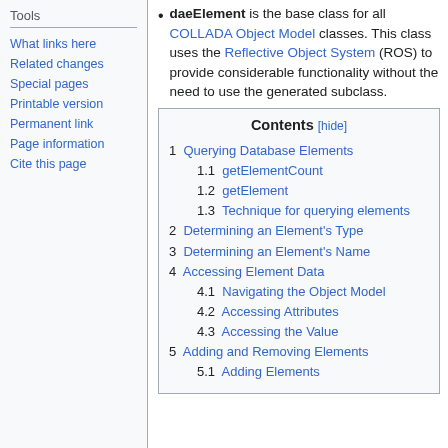Tools
What links here
Related changes
Special pages
Printable version
Permanent link
Page information
Cite this page
daeElement is the base class for all COLLADA Object Model classes. This class uses the Reflective Object System (ROS) to provide considerable functionality without the need to use the generated subclass.
| Contents [hide] |
| --- |
| 1  Querying Database Elements |
| 1.1  getElementCount |
| 1.2  getElement |
| 1.3  Technique for querying elements |
| 2  Determining an Element's Type |
| 3  Determining an Element's Name |
| 4  Accessing Element Data |
| 4.1  Navigating the Object Model |
| 4.2  Accessing Attributes |
| 4.3  Accessing the Value |
| 5  Adding and Removing Elements |
| 5.1  Adding Elements |